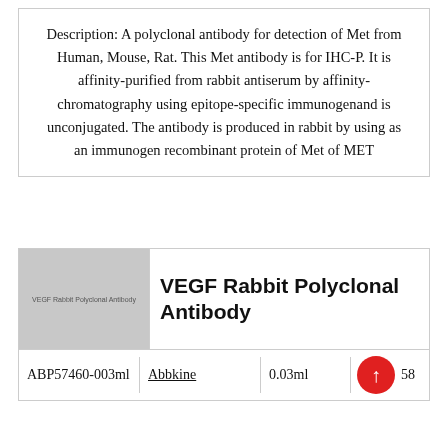Description: A polyclonal antibody for detection of Met from Human, Mouse, Rat. This Met antibody is for IHC-P. It is affinity-purified from rabbit antiserum by affinity-chromatography using epitope-specific immunogenand is unconjugated. The antibody is produced in rabbit by using as an immunogen recombinant protein of Met of MET
[Figure (photo): Product image placeholder for VEGF Rabbit Polyclonal Antibody, grey box with small label text]
VEGF Rabbit Polyclonal Antibody
|  | Abbkine | 0.03ml |  |
| --- | --- | --- | --- |
| ABP57460-003ml | Abbkine | 0.03ml | ↑58 |